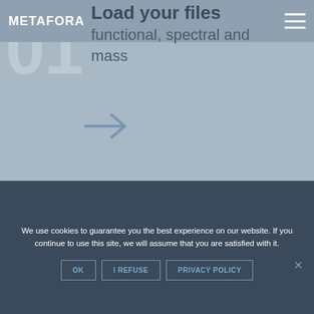METAFORA
Load your files
functional, spectral and mass
[Figure (infographic): Right-pointing arrow icon indicating progression to next step]
Set up your workflow
We use cookies to guarantee you the best experience on our website. If you continue to use this site, we will assume that you are satisfied with it.
OK | I REFUSE | PRIVACY POLICY